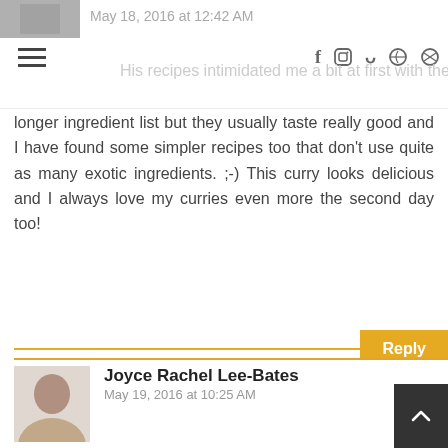May 18, 2016 at 12:42 AM
His recipes intimidated me a bit at first with the longer ingredient list but they usually taste really good and I have found some simpler recipes too that don't use quite as many exotic ingredients. ;-) This curry looks delicious and I always love my curries even more the second day too!
Reply
Joyce Rachel Lee-Bates
May 19, 2016 at 10:25 AM
Thanks for the encouragement, Deb!
kitchen flavours
May 18, 2016 at 9:30 PM
Hi Joyce,